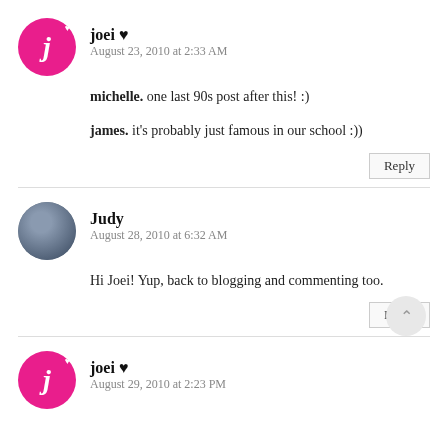joei ♥
August 23, 2010 at 2:33 AM
michelle. one last 90s post after this! :)
james. it's probably just famous in our school :))
Reply
Judy
August 28, 2010 at 6:32 AM
Hi Joei! Yup, back to blogging and commenting too.
Reply
joei ♥
August 29, 2010 at 2:23 PM